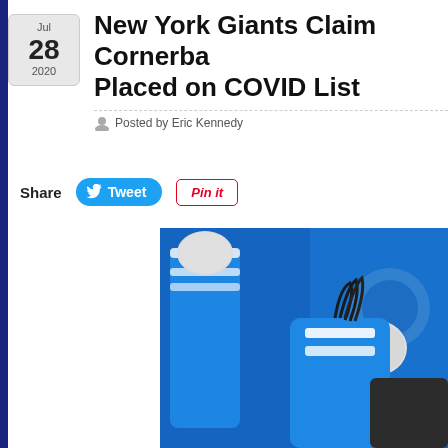New York Giants Claim Cornerback Placed on COVID List
Posted by Eric Kennedy
Share
[Figure (photo): Football players in Indianapolis Colts blue and white uniforms during a game, one player making contact with another. Blue background with Colts logo visible.]